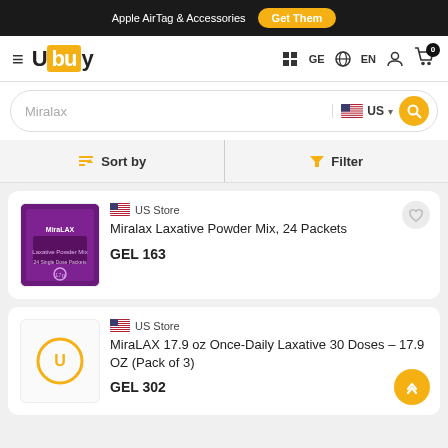Apple AirTag & Accessories  Get Them
[Figure (logo): Ubuy logo with hamburger menu icon and navigation icons for GE, EN, user account and cart with badge 0]
[Figure (screenshot): Search bar with text 'Miralax', US flag selector, and search button]
Sort by  Filter
[Figure (photo): MiraLAX product box - purple packaging]
US Store
Miralax Laxative Powder Mix, 24 Packets
GEL 163
[Figure (logo): Ubuy loading/placeholder icon]
US Store
MiraLAX 17.9 oz Once-Daily Laxative 30 Doses - 17.9 OZ (Pack of 3)
GEL 302